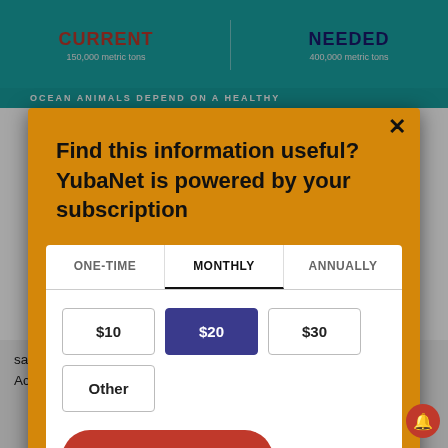[Figure (screenshot): Top teal banner showing CURRENT (150,000 metric tons) and NEEDED (400,000 metric tons) with decorative dot pattern and ocean bar reading 'OCEAN ANIMALS DEPEND ON A HEALTHY']
Find this information useful? YubaNet is powered by your subscription
| ONE-TIME | MONTHLY | ANNUALLY |
| --- | --- | --- |
| $10 | $20 | $30 | Other |
Subscribe now!
sardine to be 27,577 metric tons (mt) in July. According to federal law, this population level is